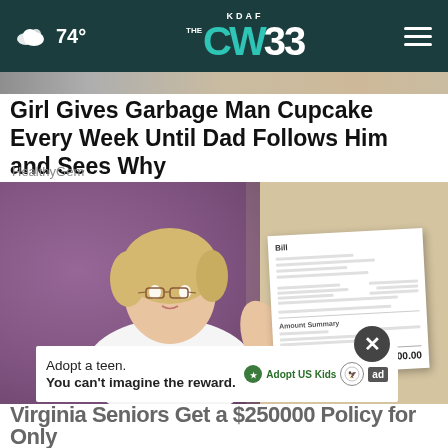KDAF CW 33 | 74°
Girl Gives Garbage Man Cupcake Every Week Until Dad Follows Him and Sees Why
HealthyGem
[Figure (photo): Middle-aged woman with short blonde hair and glasses holding up a bill/document showing a large dollar amount ($250,000.00), standing in front of a purple wall]
Adopt a teen. You can't imagine the reward.
Virginia Seniors Get a $250000 Policy for Only